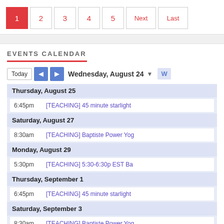Pagination: 1 (active), 2, 3, 4, 5, Next, Last
EVENTS CALENDAR
Today | Wednesday, August 24 ▼ W
Thursday, August 25
6:45pm  [TEACHING] 45 minute starlight
Saturday, August 27
8:30am  [TEACHING] Baptiste Power Yog
Monday, August 29
5:30pm  [TEACHING] 5:30-6:30p EST Ba
Thursday, September 1
6:45pm  [TEACHING] 45 minute starlight
Saturday, September 3
8:30am  [TEACHING] Baptiste Power Yog
Events shown in time zone: